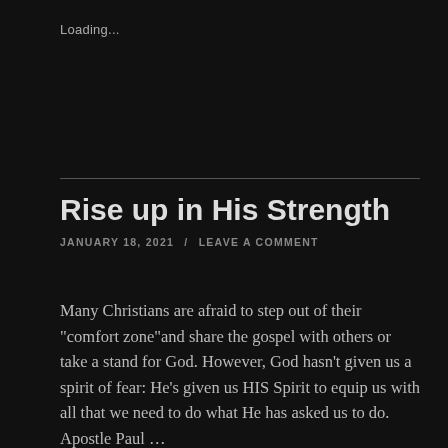Loading...
Rise up in His Strength
JANUARY 18, 2021  /  LEAVE A COMMENT
Many Christians are afraid to step out of their "comfort zone"and share the gospel with others or take a stand for God. However, God hasn't given us a spirit of fear: He's given us HIS Spirit to equip us with all that we need to do what He has asked us to do. Apostle Paul … Continue reading